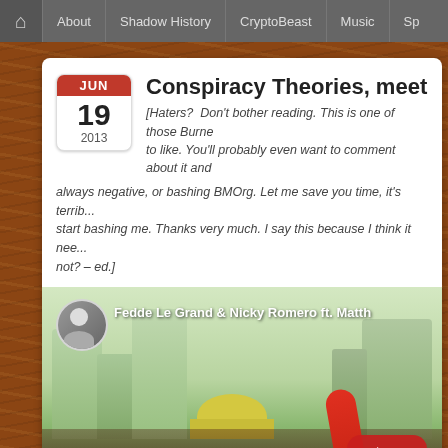About | Shadow History | CryptoBeast | Music | Sp...
Conspiracy Theories, meet Bur...
[Haters? Don't bother reading. This is one of those Burne... to like. You'll probably even want to comment about it and always negative, or bashing BMOrg. Let me save you time, it's terrib... start bashing me. Thanks very much. I say this because I think it nee... not? – ed.]
[Figure (screenshot): YouTube video thumbnail showing Fedde Le Grand & Nicky Romero ft. Matth... with a crowd scene and city skyline in the background, with a red YouTube play button.]